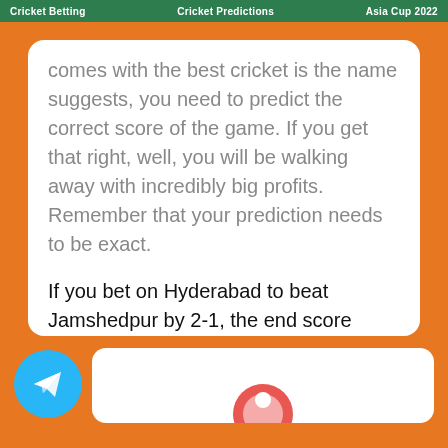Cricket Betting   Cricket Predictions   Asia Cup 2022
comes with the best cricket is the name suggests, you need to predict the correct score of the game. If you get that right, well, you will be walking away with incredibly big profits. Remember that your prediction needs to be exact.

If you bet on Hyderabad to beat Jamshedpur by 2-1, the end score needs to be that for you to win. A score of 3-1 or anything else will result in a lost bet.

The odds here may range anywhere between 2.0 to 10.0 and even more, depending on several factors.
[Figure (logo): Telegram logo icon - blue circle with white paper plane]